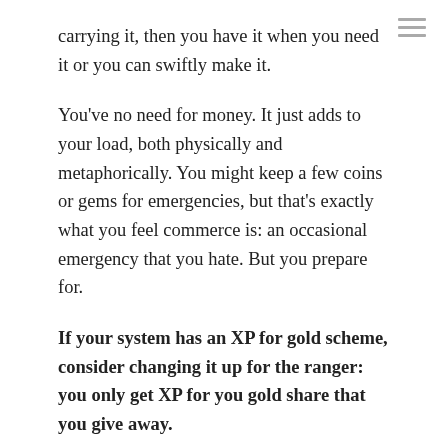carrying it, then you have it when you need it or you can swiftly make it.
You've no need for money. It just adds to your load, both physically and metaphorically. You might keep a few coins or gems for emergencies, but that's exactly what you feel commerce is: an occasional emergency that you hate. But you prepare for.
If your system has an XP for gold scheme, consider changing it up for the ranger: you only get XP for you gold share that you give away.
Behaviour
You hunt to survive and consequently you are an